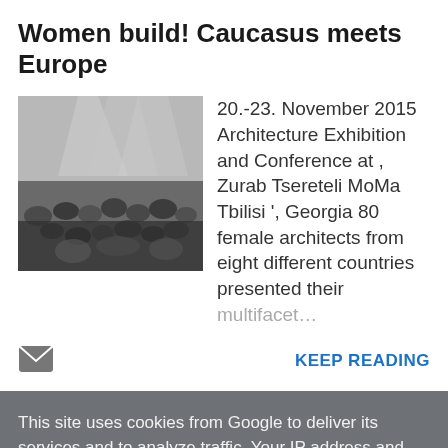Women build! Caucasus meets Europe
[Figure (photo): Black and white photograph of a crowd of people at an indoor event or exhibition]
20.-23. November 2015 Architecture Exhibition and Conference at , Zurab Tsereteli MoMa Tbilisi ', Georgia 80 female architects from eight different countries presented their multifacet…
KEEP READING
This site uses cookies from Google to deliver its services and to analyze traffic. Your IP address and user-agent are shared with Google along with performance and security metrics to ensure quality of service, generate usage statistics, and to detect and address abuse.
LEARN MORE   OK